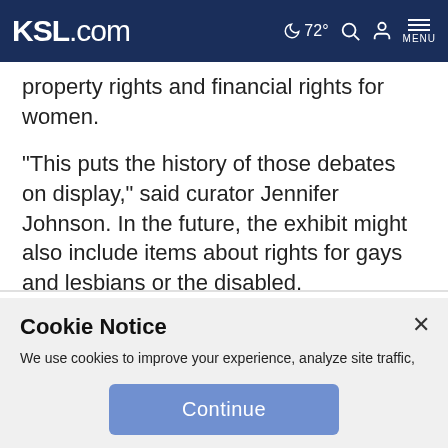KSL.com — 72° MENU
property rights and financial rights for women.
"This puts the history of those debates on display," said curator Jennifer Johnson. In the future, the exhibit might also include items about rights for gays and lesbians or the disabled.
Rubenstein said he brings more visitors to tour the National
Cookie Notice
We use cookies to improve your experience, analyze site traffic, and to personalize content and ads. By continuing to use our site, you consent to our use of cookies. Please visit our Terms of Use and Privacy Policy for more information.
Continue